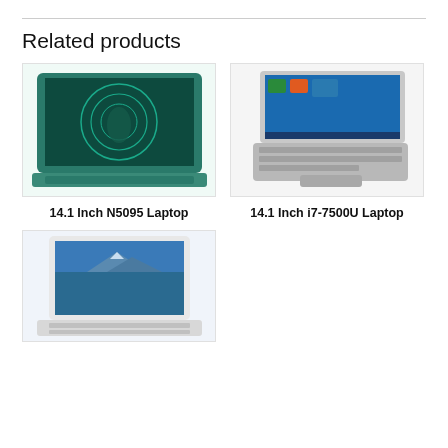Related products
[Figure (photo): Green/teal colored laptop with artistic display screen, shown from a three-quarter angle]
14.1 Inch N5095 Laptop
[Figure (photo): Silver laptop shown from top-down angle with Windows 10 desktop visible on screen]
14.1 Inch i7-7500U Laptop
[Figure (photo): White/silver laptop with scenic mountain/nature wallpaper on screen, shown from front angle]